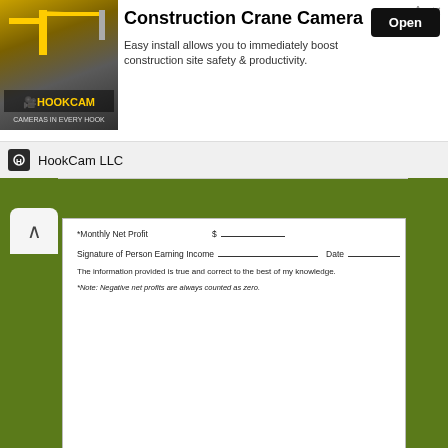[Figure (screenshot): Advertisement banner for HookCam LLC - Construction Crane Camera. Shows crane photo, 'Construction Crane Camera' heading, 'Easy install allows you to immediately boost construction site safety & productivity.' text, and Open button.]
*Monthly Net Profit   $________
Signature of Person Earning Income _________________ Date ___________
The information provided is true and correct to the best of my knowledge.
*Note: Negative net profits are always counted as zero.
Sheet Template cash register balance sheet template and printable report format for sales in excel freeoad production work daily Daily
excel sheet count cash daily template balance sales free example up register out for restaurant uk till cashier retail drawer spreadsheet flow business download Template Sheet Cash Daily This printable form is a way for small businesses to keep track of money in and out on a daily basis. Free to download and print.The daily cash sheet template is available